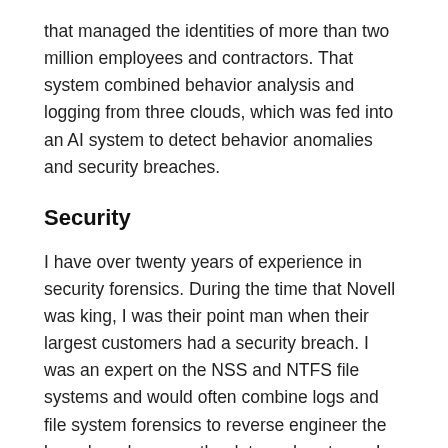that managed the identities of more than two million employees and contractors. That system combined behavior analysis and logging from three clouds, which was fed into an AI system to detect behavior anomalies and security breaches.
Security
I have over twenty years of experience in security forensics. During the time that Novell was king, I was their point man when their largest customers had a security breach. I was an expert on the NSS and NTFS file systems and would often combine logs and file system forensics to reverse engineer the breach and recover the data and systems. I was involved in more than 1,000 cases, some of which involved the FBI. Today, I am an expert in cloud security identity management and other best